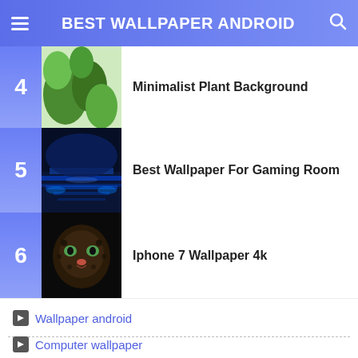BEST WALLPAPER ANDROID
4 Minimalist Plant Background
5 Best Wallpaper For Gaming Room
6 Iphone 7 Wallpaper 4k
Wallpaper android
Computer wallpaper
BLOG ARCHIVE
2022 (254)